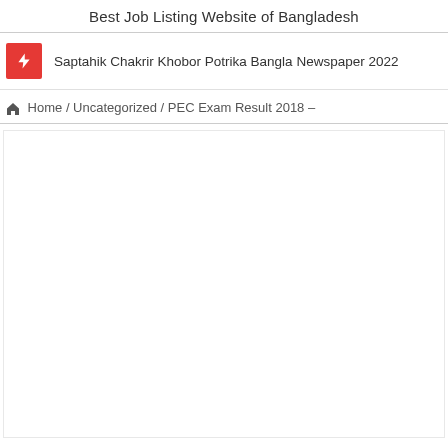Best Job Listing Website of Bangladesh
Saptahik Chakrir Khobor Potrika Bangla Newspaper 2022
Home / Uncategorized / PEC Exam Result 2018 –
[Figure (other): Empty white content area box]